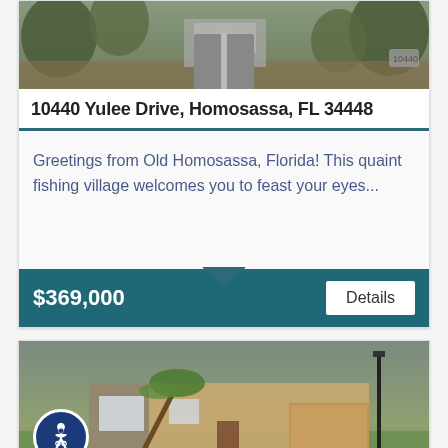[Figure (photo): Exterior photo of house at 10440 Yulee Drive, Homosassa FL — driveway leading to house entrance surrounded by trees and landscaping]
10440 Yulee Drive, Homosassa, FL 34448
Greetings from Old Homosassa, Florida! This quaint fishing village welcomes you to feast your eyes...
$369,000
Details
[Figure (photo): Exterior photo of a single-story home with attached garage, stone accents, and lawn with a leaning palm tree]